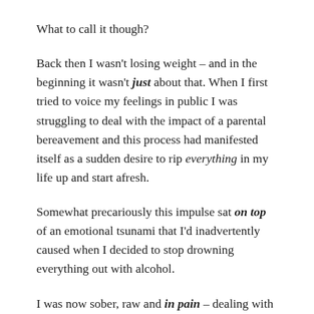What to call it though?
Back then I wasn't losing weight – and in the beginning it wasn't just about that. When I first tried to voice my feelings in public I was struggling to deal with the impact of a parental bereavement and this process had manifested itself as a sudden desire to rip everything in my life up and start afresh.
Somewhat precariously this impulse sat on top of an emotional tsunami that I'd inadvertently caused when I decided to stop drowning everything out with alcohol.
I was now sober, raw and in pain – dealing with